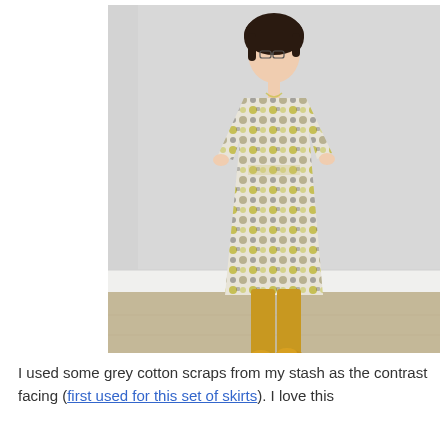[Figure (photo): A woman standing against a light grey wall, wearing a floral dress with grey, yellow, and white flowers, yellow/mustard tights, and yellow flat shoes. She has short dark hair and glasses and is smiling.]
I used some grey cotton scraps from my stash as the contrast facing (first used for this set of skirts). I love this